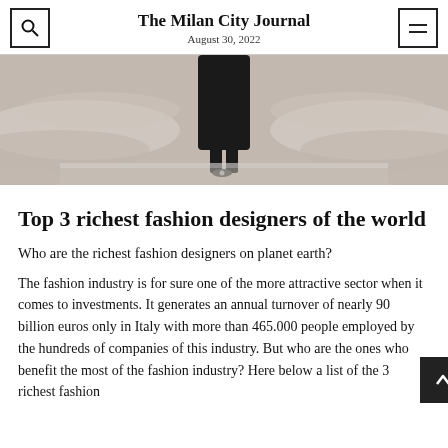The Milan City Journal
August 30, 2022
[Figure (photo): Bottom portion of a model or mannequin wearing a black outfit, standing on a shiny reflective surface with light gray draped fabric backdrop.]
Top 3 richest fashion designers of the world
Who are the richest fashion designers on planet earth?
The fashion industry is for sure one of the more attractive sector when it comes to investments. It generates an annual turnover of nearly 90 billion euros only in Italy with more than 465.000 people employed by the hundreds of companies of this industry. But who are the ones who benefit the most of the fashion industry? Here below a list of the 3 richest fashion